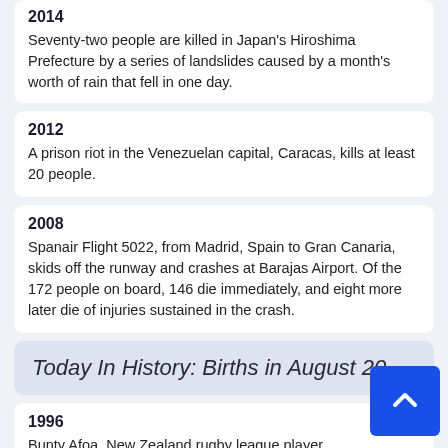2014
Seventy-two people are killed in Japan's Hiroshima Prefecture by a series of landslides caused by a month's worth of rain that fell in one day.
2012
A prison riot in the Venezuelan capital, Caracas, kills at least 20 people.
2008
Spanair Flight 5022, from Madrid, Spain to Gran Canaria, skids off the runway and crashes at Barajas Airport. Of the 172 people on board, 146 die immediately, and eight more later die of injuries sustained in the crash.
Today In History: Births in August 20
1996
Bunty Afoa, New Zealand rugby league player
1993
Tonisha Rock-Yaw, Barbadian netball player